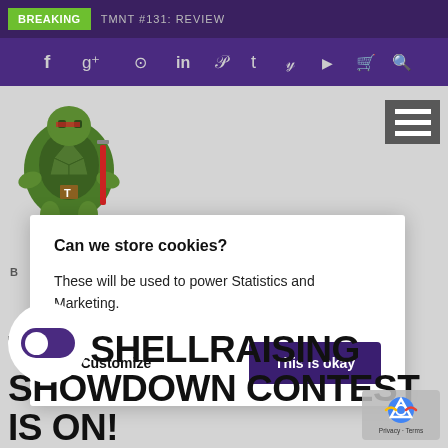BREAKING  TMNT #131: REVIEW
[Figure (screenshot): Social media icon bar with icons for Facebook, Google+, Instagram, LinkedIn, Pinterest, Tumblr, Twitter, YouTube, Cart, Search]
[Figure (illustration): Pixel art green turtle/TMNT character holding a weapon]
[Figure (other): Hamburger menu icon with three white horizontal bars on dark background]
Can we store cookies?
These will be used to power Statistics and Marketing.
No, Customize
This is okay
THE SHELLRAISING SHOWDOWN CONTEST IS ON!